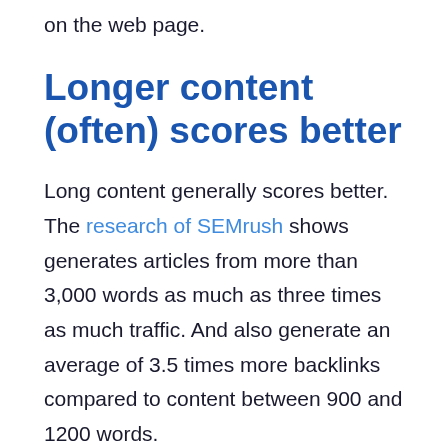on the web page.
Longer content (often) scores better
Long content generally scores better. The research of SEMrush shows generates articles from more than 3,000 words as much as three times as much traffic. And also generate an average of 3.5 times more backlinks compared to content between 900 and 1200 words.